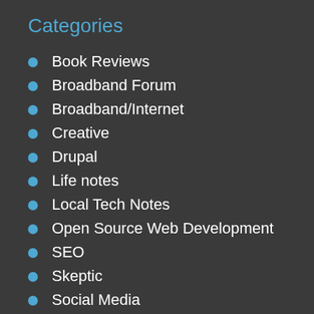Categories
Book Reviews
Broadband Forum
Broadband/Internet
Creative
Drupal
Life notes
Local Tech Notes
Open Source Web Development
SEO
Skeptic
Social Media
web hosting